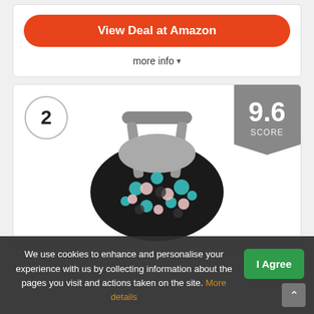View Deal at Amazon
more info ▾
2
[Figure (photo): Baby car seat canopy cover with colorful polka dots (teal, pink, gray) on black background with gray handle]
9.6 SCORE
We use cookies to enhance and personalise your experience with us by collecting information about the pages you visit and actions taken on the site. More details
I Agree